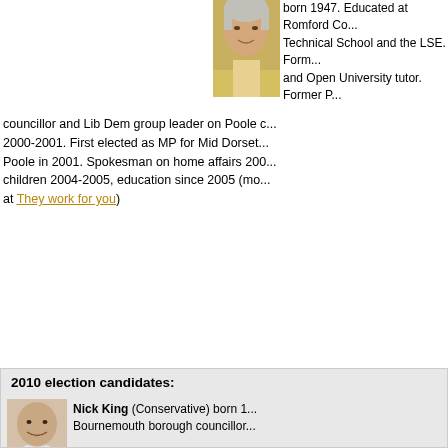[Figure (photo): Photo of a woman (Annette Brooke), partially cropped at top of page]
born 1947. Educated at Romford County Technical School and the LSE. Former teacher and Open University tutor. Former Poole councillor and Lib Dem group leader on Poole council 2000-2001. First elected as MP for Mid Dorset and North Poole in 2001. Spokesman on home affairs 2001-2004, children 2004-2005, education since 2005 (more at They work for you)
2010 election candidates:
[Figure (photo): Photo of Nick King, a bald smiling man]
Nick King (Conservative) born 1... Bournemouth borough councillor...
[Figure (photo): Placeholder silhouette image for Darren Brown]
Darren Brown (Labour)
[Figure (photo): Photo of Annette Brooke, a woman with short grey hair]
Annette Brooke (Liberal Democrat) Educated at Romford County Technical School and the LSE. Former teacher and Open University tutor. Former Poole co... Lib Dem group leader on Poole council from... First elected as MP for Mid Dorset and North... 2001. Spokesman on home affairs 2001-200...